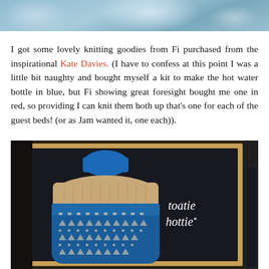[Figure (photo): Top portion of a photo with blue/teal abstract or fabric background, partially cropped]
I got some lovely knitting goodies from Fi purchased from the inspirational Kate Davies. (I have to confess at this point I was a little bit naughty and bought myself a kit to make the hot water bottle in blue, but Fi showing great foresight bought me one in red, so providing I can knit them both up that's one for each of the guest beds! (or as Jam wanted it, one each)).
[Figure (photo): Photo of a knitting kit package called 'toatie hottie' showing a blue hot water bottle cover with fair isle pattern and a beige/tan knitted collar, the package has a tan/kraft paper border and dark background]